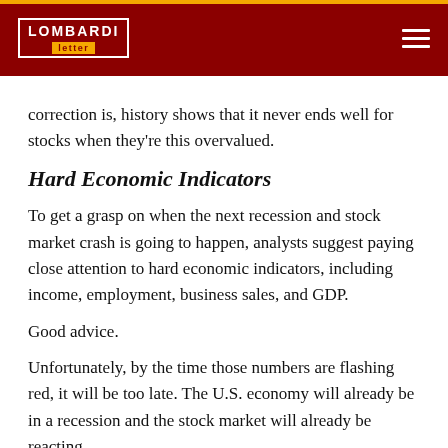LOMBARDI letter
correction is, history shows that it never ends well for stocks when they're this overvalued.
Hard Economic Indicators
To get a grasp on when the next recession and stock market crash is going to happen, analysts suggest paying close attention to hard economic indicators, including income, employment, business sales, and GDP.
Good advice.
Unfortunately, by the time those numbers are flashing red, it will be too late. The U.S. economy will already be in a recession and the stock market will already be reacting.